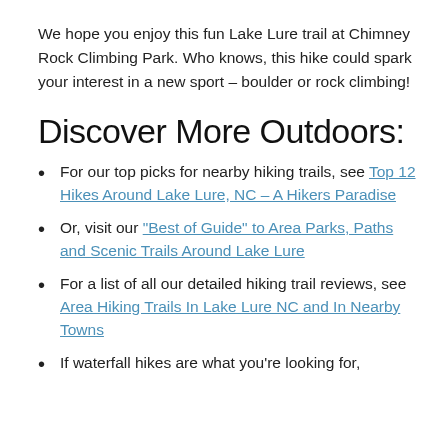We hope you enjoy this fun Lake Lure trail at Chimney Rock Climbing Park. Who knows, this hike could spark your interest in a new sport – boulder or rock climbing!
Discover More Outdoors:
For our top picks for nearby hiking trails, see Top 12 Hikes Around Lake Lure, NC – A Hikers Paradise
Or, visit our "Best of Guide" to Area Parks, Paths and Scenic Trails Around Lake Lure
For a list of all our detailed hiking trail reviews, see Area Hiking Trails In Lake Lure NC and In Nearby Towns
If waterfall hikes are what you're looking for,